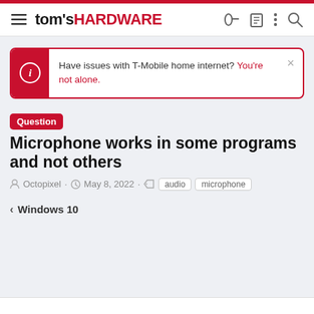tom's HARDWARE
Have issues with T-Mobile home internet? You're not alone.
Question Microphone works in some programs and not others
Octopixel · May 8, 2022 · audio microphone
< Windows 10